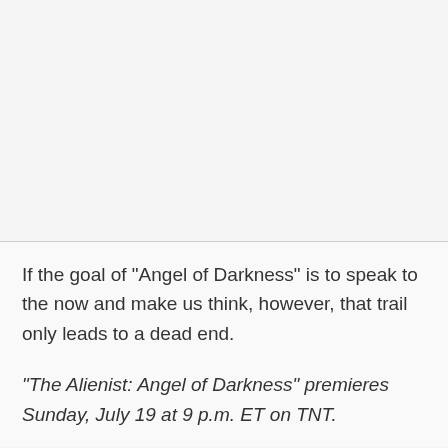[Figure (other): Empty light gray area at top of page, separated from text by a horizontal rule]
If the goal of "Angel of Darkness" is to speak to the now and make us think, however, that trail only leads to a dead end.
"The Alienist: Angel of Darkness" premieres Sunday, July 19 at 9 p.m. ET on TNT.